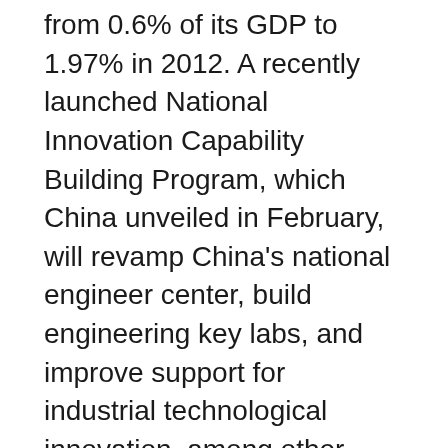from 0.6% of its GDP to 1.97% in 2012. A recently launched National Innovation Capability Building Program, which China unveiled in February, will revamp China's national engineer center, build engineering key labs, and improve support for industrial technological innovation, among other strategies.
California has paid careful attention to China's focus on science and technology innovation, forging corporate and institutional partnerships and connections at many levels. In April Governor Jerry Brown led a 90-person